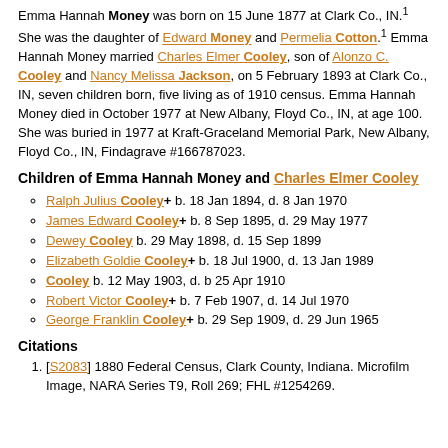Emma Hannah Money was born on 15 June 1877 at Clark Co., IN.1 She was the daughter of Edward Money and Permelia Cotton.1 Emma Hannah Money married Charles Elmer Cooley, son of Alonzo C. Cooley and Nancy Melissa Jackson, on 5 February 1893 at Clark Co., IN, seven children born, five living as of 1910 census. Emma Hannah Money died in October 1977 at New Albany, Floyd Co., IN, at age 100. She was buried in 1977 at Kraft-Graceland Memorial Park, New Albany, Floyd Co., IN, Findagrave #166787023.
Children of Emma Hannah Money and Charles Elmer Cooley
Ralph Julius Cooley+ b. 18 Jan 1894, d. 8 Jan 1970
James Edward Cooley+ b. 8 Sep 1895, d. 29 May 1977
Dewey Cooley b. 29 May 1898, d. 15 Sep 1899
Elizabeth Goldie Cooley+ b. 18 Jul 1900, d. 13 Jan 1989
Cooley b. 12 May 1903, d. b 25 Apr 1910
Robert Victor Cooley+ b. 7 Feb 1907, d. 14 Jul 1970
George Franklin Cooley+ b. 29 Sep 1909, d. 29 Jun 1965
Citations
1. [S2083] 1880 Federal Census, Clark County, Indiana. Microfilm Image, NARA Series T9, Roll 269; FHL #1254269.